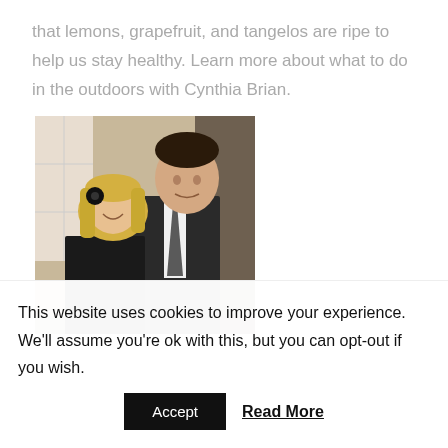that lemons, grapefruit, and tangelos are ripe to help us stay healthy. Learn more about what to do in the outdoors with Cynthia Brian.
[Figure (photo): A smiling couple — a blonde woman in a dark top and a man in a dark suit and tie — posing together indoors.]
This website uses cookies to improve your experience. We'll assume you're ok with this, but you can opt-out if you wish.
Accept   Read More